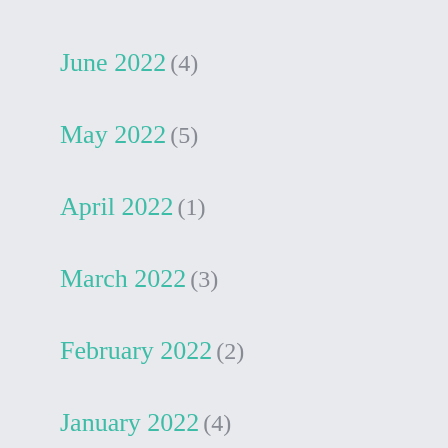June 2022 (4)
May 2022 (5)
April 2022 (1)
March 2022 (3)
February 2022 (2)
January 2022 (4)